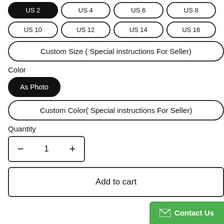US 2 (selected), US 4, US 6, US 8
US 10, US 12, US 14, US 16
Custom Size ( Special instructions For Seller)
Color
As Photo (selected)
Custom Color( Special instructions For Seller)
Quantity
- 1 +
Add to cart
Contact Us